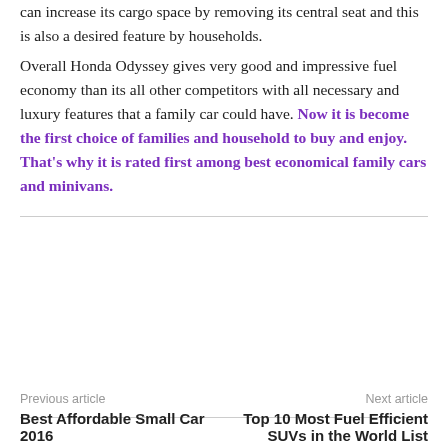can increase its cargo space by removing its central seat and this is also a desired feature by households. Overall Honda Odyssey gives very good and impressive fuel economy than its all other competitors with all necessary and luxury features that a family car could have. Now it is become the first choice of families and household to buy and enjoy. That's why it is rated first among best economical family cars and minivans.
Previous article | Next article | Best Affordable Small Car 2016 | Top 10 Most Fuel Efficient SUVs in the World List